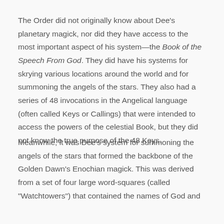The Order did not originally know about Dee's planetary magick, nor did they have access to the most important aspect of his system—the Book of the Speech From God. They did have his systems for skrying various locations around the world and for summoning the angels of the stars. They also had a series of 48 invocations in the Angelical language (often called Keys or Callings) that were intended to access the powers of the celestial Book, but they did not know the true purpose of the 48 Keys.
Meanwhile, it was Dee's system for summoning the angels of the stars that formed the backbone of the Golden Dawn's Enochian magick. This was derived from a set of four large word-squares (called "Watchtowers") that contained the names of God and